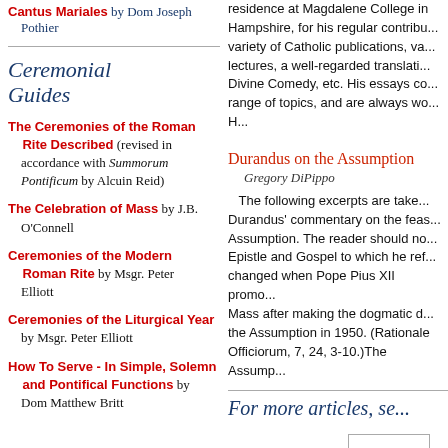Cantus Mariales by Dom Joseph Pothier
Ceremonial Guides
The Ceremonies of the Roman Rite Described (revised in accordance with Summorum Pontificum by Alcuin Reid)
The Celebration of Mass by J.B. O'Connell
Ceremonies of the Modern Roman Rite by Msgr. Peter Elliott
Ceremonies of the Liturgical Year by Msgr. Peter Elliott
How To Serve - In Simple, Solemn and Pontifical Functions by Dom Matthew Britt
residence at Magdalene College in Hampshire, for his regular contributions to a variety of Catholic publications, various lectures, a well-regarded translation of the Divine Comedy, etc. His essays cover a wide range of topics, and are always wo... H...
Durandus on the Assumption
Gregory DiPippo
The following excerpts are taken from Durandus' commentary on the feast of the Assumption. The reader should note that the Epistle and Gospel to which he refers were changed when Pope Pius XII promulgated the Mass after making the dogmatic definition of the Assumption in 1950. (Rationale Divinorum Officiorum, 7, 24, 3-10.)The Assump...
For more articles, se...